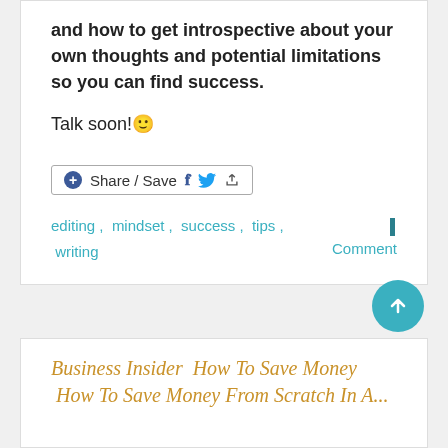and how to get introspective about your own thoughts and potential limitations so you can find success.
Talk soon!🙂
[Figure (other): Share / Save button with Facebook, Twitter, and generic share icons]
editing , mindset , success , tips , writing
1 Comment
Business Insider How To Save Money How To Save Money From Scratch In A...